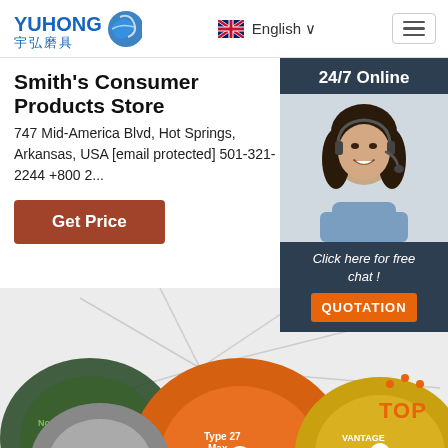[Figure (logo): Yuhong 宇弘磨具 logo with blue wave graphic]
English ∨
Smith's Consumer Products Store
747 Mid-America Blvd, Hot Springs, Arkansas, USA [email protected] 501-321-2244 +800 2...
Get Price
[Figure (photo): 24/7 Online support widget showing a smiling woman with headset, dark blue background, with 'Click here for free chat!' and 'QUOTATION' button]
[Figure (photo): Product image showing multiple grinding/cutting discs including Type 27 Max Flex disc]